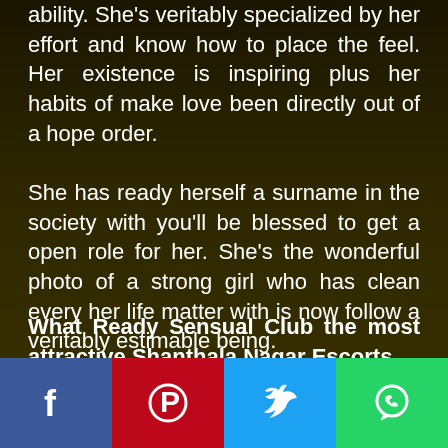ability. She's veritably specialized by her effort and know how to place the feel. Her existence is inspiring plus her habits of make love been directly out of a hope order.
She has ready herself a surname in the society with you'll be blessed to get a open role for her. She's the wonderful photo of a strong girl who has clean every her life matter with is now follow a veritably estimable being.
What Ready Sensual Club the most attractive Shanthala Nagar Escorts
Sensu… who recog… vital
[Figure (other): Social media share buttons bar at the bottom: Facebook (blue), Pinterest (red), Twitter (light blue), WhatsApp (green)]